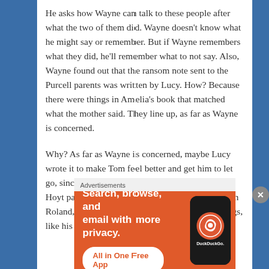He asks how Wayne can talk to these people after what the two of them did. Wayne doesn't know what he might say or remember. But if Wayne remembers what they did, he'll remember what to not say. Also, Wayne found out that the ransom note sent to the Purcell parents was written by Lucy. How? Because there were things in Amelia's book that matched what the mother said. They line up, as far as Wayne is concerned.
Why? As far as Wayne is concerned, maybe Lucy wrote it to make Tom feel better and get him to let go, since she already had. Wayne then reveals that Hoyt paid him a visit- and he never shared this with Roland, but he made a decision. He had other things, like his family, to think
Advertisements
[Figure (other): DuckDuckGo advertisement banner with orange background. Text reads: Search, browse, and email with more privacy. All in One Free App. Shows a smartphone with DuckDuckGo logo.]